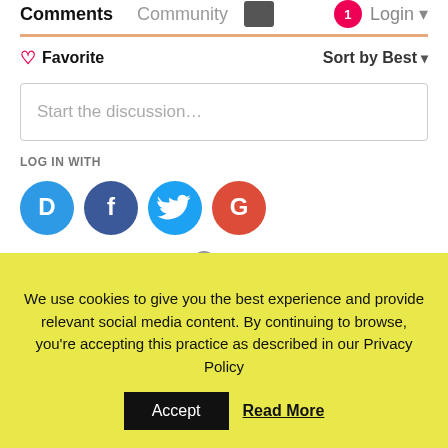Comments   Community   Login
♡ Favorite   Sort by Best ▾
Start the discussion…
LOG IN WITH
[Figure (infographic): Four social login icons: Disqus (blue speech bubble with D), Facebook (dark blue circle with F), Twitter (light blue circle with bird), Google (red circle with G)]
OR SIGN UP WITH DISQUS ?
Name
We use cookies to give you the best experience and provide relevant social media content. By continuing to browse, you're accepting this practice as described in our Privacy Policy
Accept   Read More